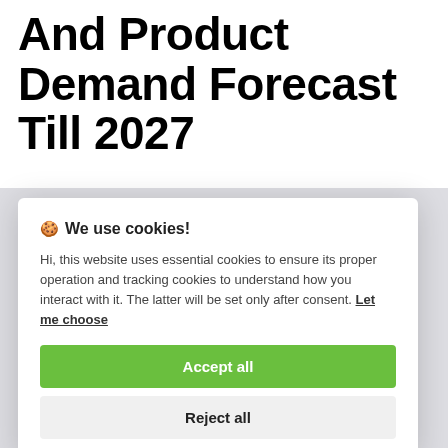And Product Demand Forecast Till 2027
🍪 We use cookies!

Hi, this website uses essential cookies to ensure its proper operation and tracking cookies to understand how you interact with it. The latter will be set only after consent. Let me choose

[Accept all] [Reject all]
segmented by type into radio frequency